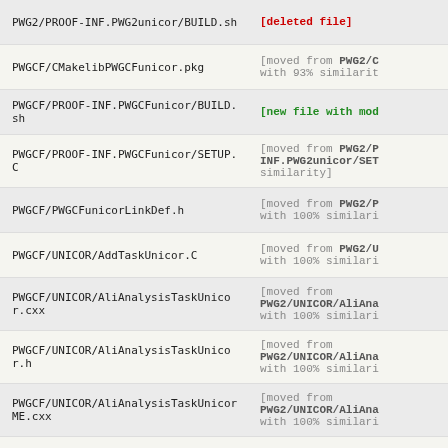PWG2/PROOF-INF.PWG2unicor/BUILD.sh | [deleted file]
PWGCF/CMakelibPWGCFunicor.pkg | [moved from PWG2/C with 93% similarit
PWGCF/PROOF-INF.PWGCFunicor/BUILD.sh | [new file with mod
PWGCF/PROOF-INF.PWGCFunicor/SETUP.C | [moved from PWG2/P INF.PWG2unicor/SET similarity]
PWGCF/PWGCFunicorLinkDef.h | [moved from PWG2/P with 100% similari
PWGCF/UNICOR/AddTaskUnicor.C | [moved from PWG2/U with 100% similari
PWGCF/UNICOR/AliAnalysisTaskUnicor.cxx | [moved from PWG2/UNICOR/AliAna with 100% similari
PWGCF/UNICOR/AliAnalysisTaskUnicor.h | [moved from PWG2/UNICOR/AliAna with 100% similari
PWGCF/UNICOR/AliAnalysisTaskUnicorME.cxx | [moved from PWG2/UNICOR/AliAna with 100% similari
PWGCF/UNICOR/AliAnalysisTaskUnicorME.h | [moved from